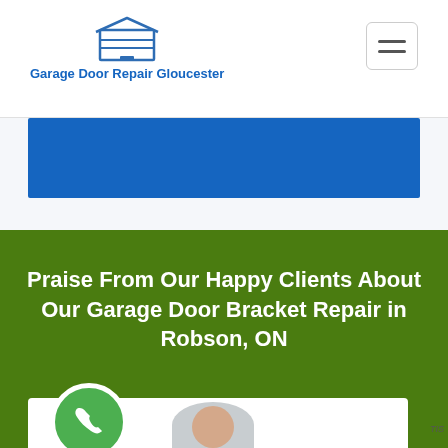Garage Door Repair Gloucester
[Figure (screenshot): Blue promotional banner strip]
Praise From Our Happy Clients About Our Garage Door Bracket Repair in Robson, ON
[Figure (photo): Green phone call button circle with phone icon, and partial photo of a person at bottom]